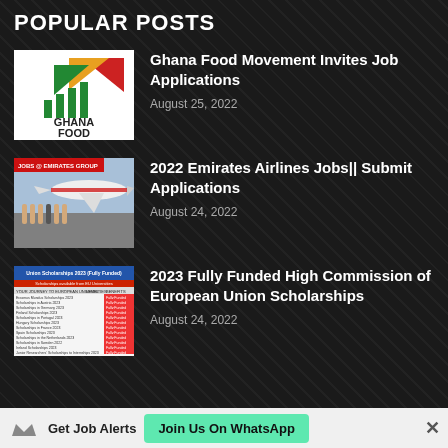POPULAR POSTS
[Figure (logo): Ghana Food logo with geometric triangle/arrow shapes in red, yellow, green and bar chart icon above text GHANA FOOD]
Ghana Food Movement Invites Job Applications
August 25, 2022
[Figure (photo): Emirates Airlines Jobs photo showing an Emirates airplane and crew staff in uniform standing on tarmac, with red banner reading JOBS @ EMIRATES GROUP]
2022 Emirates Airlines Jobs|| Submit Applications
August 24, 2022
[Figure (table-as-image): Table listing Union Scholarships 2023 (Fully Funded) with columns for European Universities, Level, and Fully Funded status]
2023 Fully Funded High Commission of European Union Scholarships
August 24, 2022
Get Job Alerts  Join Us On WhatsApp  ×